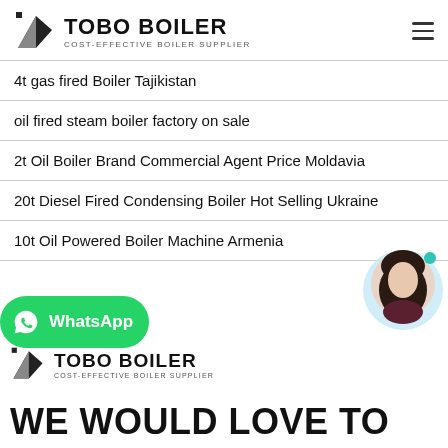TOBO BOILER — COST-EFFECTIVE BOILER SUPPLIER
4t gas fired Boiler Tajikistan
oil fired steam boiler factory on sale
2t Oil Boiler Brand Commercial Agent Price Moldavia
20t Diesel Fired Condensing Boiler Hot Selling Ukraine
10t Oil Powered Boiler Machine Armenia
[Figure (logo): TOBO BOILER logo repeated at bottom with COST-EFFECTIVE BOILER SUPPLIER tagline]
[Figure (other): Green WhatsApp button with WhatsApp icon and text]
[Figure (photo): Chat avatar - smiling woman in a circular frame with light blue background and teal dot indicator]
WE WOULD LOVE TO